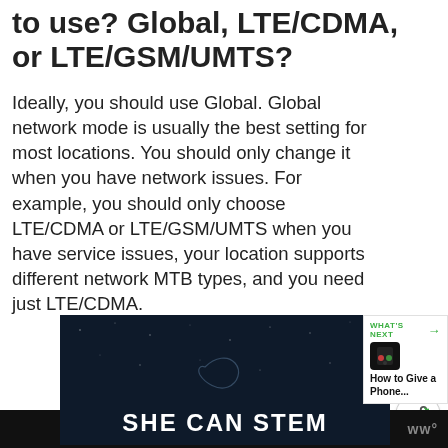to use? Global, LTE/CDMA, or LTE/GSM/UMTS?
Ideally, you should use Global. Global network mode is usually the best setting for most locations. You should only change it when you have network issues. For example, you should only choose LTE/CDMA or LTE/GSM/UMTS when you have service issues, your location supports different network MTB types, and you need just LTE/CDMA.
[Figure (screenshot): Video thumbnail showing 'SHE CAN STEM' text on dark starry background with a fish/dolphin silhouette logo]
[Figure (screenshot): What's Next panel showing phone thumbnail with label 'How to Give a Phone...']